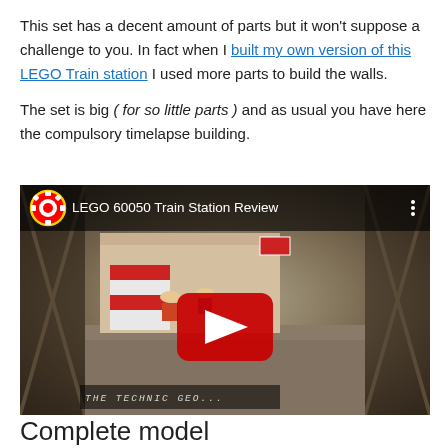This set has a decent amount of parts but it won't suppose a challenge to you. In fact when I built my own version of this LEGO Train station I used more parts to build the walls.
The set is big ( for so little parts ) and as usual you have here the compulsory timelapse building.
[Figure (screenshot): YouTube video thumbnail for 'LEGO 60050 Train Station Review' showing LEGO minifigures at a train station, with a red play button in the center and the YouTube gear logo icon in the top-left corner.]
Complete model